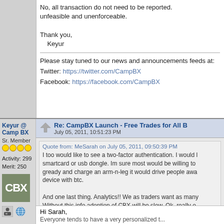No, all transaction do not need to be reported. unfeasible and unenforceable.

Thank you,
    Keyur
Please stay tuned to our news and announcements feeds at:
Twitter: https://twitter.com/CampBX
Facebook: https://facebook.com/CampBX
Keyur @ Camp BX
Sr. Member
Activity: 299
Merit: 250
Re: CampBX Launch - Free Trades for All B
July 05, 2011, 10:51:23 PM
Quote from: MeSarah on July 05, 2011, 09:50:39 PM
I too would like to see a two-factor authentication. I would like a smartcard or usb dongle. Im sure most would be willing to gready and charge an arm-n-leg it would drive people awa... device with btc.

And one last thing. Analytics!! We as traders want as many Without this info adoption of CBX will be slow. Ok, really o... bitcoincharts.com is free advertizing for you. CBX should n...
Hi Sarah,
Everyone tends to have a very personalized t...